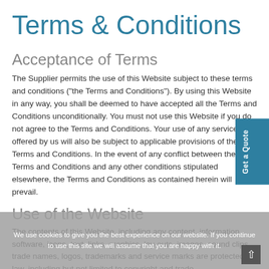Terms & Conditions
Acceptance of Terms
The Supplier permits the use of this Website subject to these terms and conditions ("the Terms and Conditions"). By using this Website in any way, you shall be deemed to have accepted all the Terms and Conditions unconditionally. You must not use this Website if you do not agree to the Terms and Conditions. Your use of any services offered by us will also be subject to applicable provisions of the Terms and Conditions. In the event of any conflict between the Terms and Conditions and any other conditions stipulated elsewhere, the Terms and Conditions as contained herein will prevail.
Use of the Website
The contents of this Website, including any content, information, software, icons, text, links, graphics, lay-outs, images, sound clips, trade names, logos, trademarks and service marks are protected by law, including but not limited to copyright and trade
We use cookies to give you the best experience on our website. If you continue to use this site we will assume that you are happy with it.